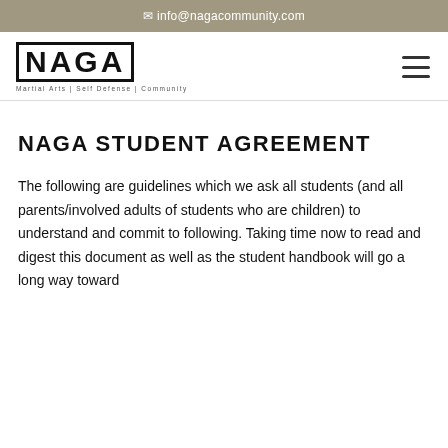✉ info@nagacommunity.com
[Figure (logo): NAGA logo with text 'Martial Arts | Self Defense | Community' and hamburger menu icon]
NAGA STUDENT AGREEMENT
The following are guidelines which we ask all students (and all parents/involved adults of students who are children) to understand and commit to following. Taking time now to read and digest this document as well as the student handbook will go a long way toward